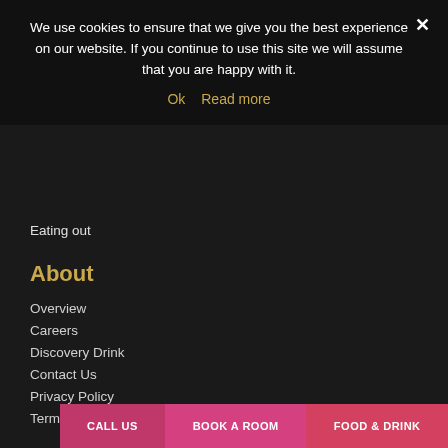We use cookies to ensure that we give you the best experience on our website. If you continue to use this site we will assume that you are happy with it.
Ok   Read more
Eating out
About
Overview
Careers
Discovery Drink
Contact Us
Privacy Policy
Terms & Conditions
The Family...
The Cranleigh Boutique
CALL US
BOOK A ROOM
FOOD & DRINK